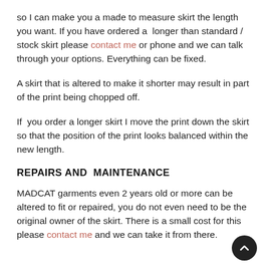so I can make you a made to measure skirt the length you want. If you have ordered a longer than standard / stock skirt please contact me or phone and we can talk through your options. Everything can be fixed.
A skirt that is altered to make it shorter may result in part of the print being chopped off.
If you order a longer skirt I move the print down the skirt so that the position of the print looks balanced within the new length.
REPAIRS AND MAINTENANCE
MADCAT garments even 2 years old or more can be altered to fit or repaired, you do not even need to be the original owner of the skirt. There is a small cost for this please contact me and we can take it from there.